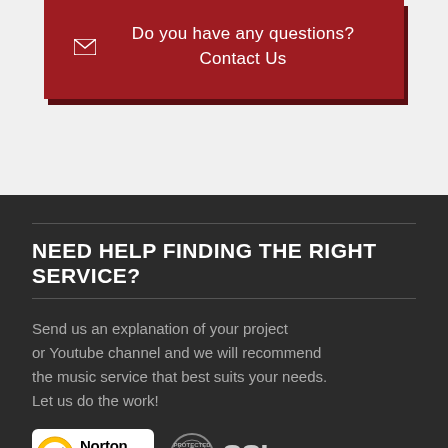Do you have any questions? Contact Us
NEED HELP FINDING THE RIGHT SERVICE?
Send us an explanation of your project or Youtube channel and we will recommend the music service that best suits your needs. Let us do the work!
[Figure (logo): Norton SECURED powered by VeriSign badge and SSL SECURE badge]